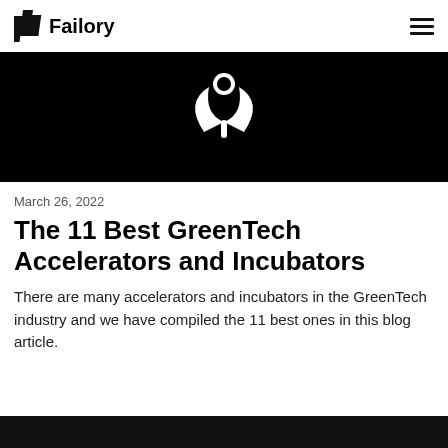Failory
[Figure (illustration): Black background with a white stylized plant/leaf logo icon in the center]
March 26, 2022
The 11 Best GreenTech Accelerators and Incubators
There are many accelerators and incubators in the GreenTech industry and we have compiled the 11 best ones in this blog article.
[Figure (photo): Black image strip at the bottom of the page]